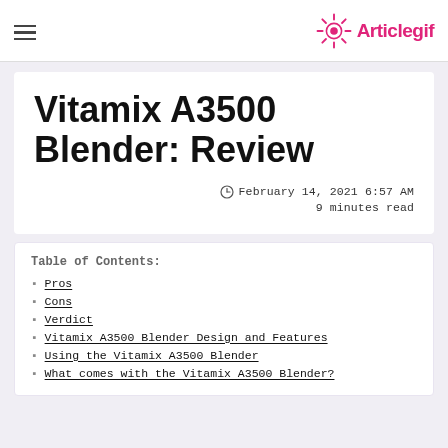Articlegif
Vitamix A3500 Blender: Review
February 14, 2021 6:57 AM
9 minutes read
Table of Contents:
Pros
Cons
Verdict
Vitamix A3500 Blender Design and Features
Using the Vitamix A3500 Blender
What comes with the Vitamix A3500 Blender?